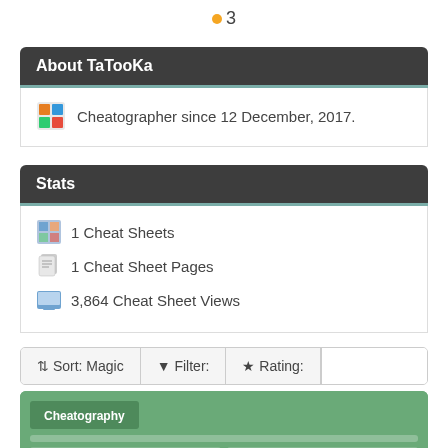3
About TaTooKa
Cheatographer since 12 December, 2017.
Stats
1 Cheat Sheets
1 Cheat Sheet Pages
3,864 Cheat Sheet Views
Sort: Magic   Filter:   Rating:
[Figure (screenshot): Preview thumbnail of a Cheatography cheat sheet with green background, showing a cheat sheet layout with columns and rows of content, and the Cheatography logo at the bottom.]